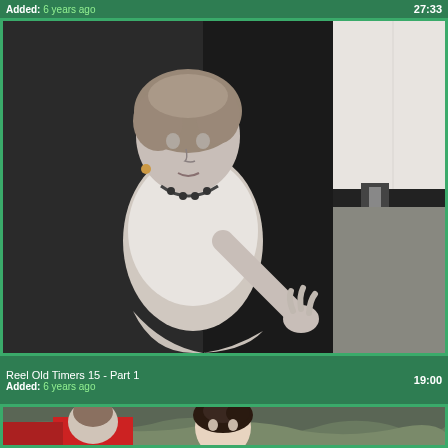Added: 6 years ago   27:33
[Figure (photo): Black and white vintage video thumbnail showing a woman kneeling and a man standing, from 'Reel Old Timers 15 - Part 1']
Reel Old Timers 15 - Part 1
Added: 6 years ago   19:00
[Figure (photo): Color video thumbnail showing a woman with dark hair outdoors near rocky terrain]